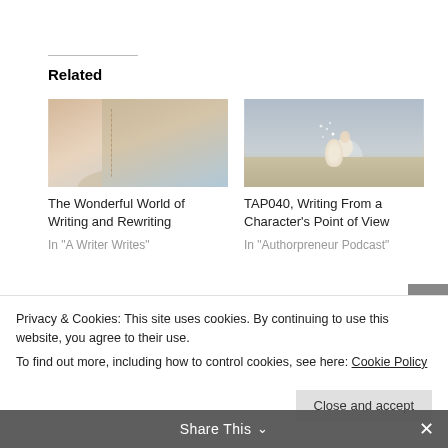Related
[Figure (photo): Close-up of an open book with pages fanned out, warm blurred background]
The Wonderful World of Writing and Rewriting
In "A Writer Writes"
[Figure (photo): A glowing figure of a woman sitting on books against a cloudy sky background]
TAP040, Writing From a Character's Point of View
In "Authorpreneur Podcast"
Privacy & Cookies: This site uses cookies. By continuing to use this website, you agree to their use.
To find out more, including how to control cookies, see here: Cookie Policy
Close and accept
Share This
Mystery Novella